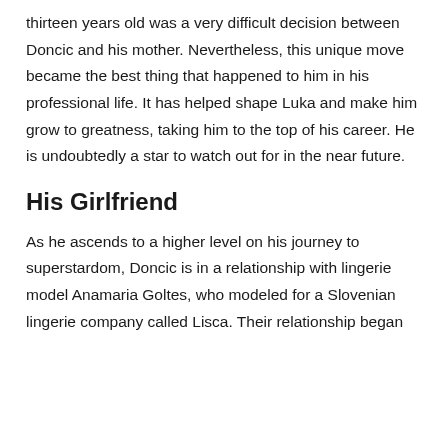thirteen years old was a very difficult decision between Doncic and his mother. Nevertheless, this unique move became the best thing that happened to him in his professional life. It has helped shape Luka and make him grow to greatness, taking him to the top of his career. He is undoubtedly a star to watch out for in the near future.
His Girlfriend
As he ascends to a higher level on his journey to superstardom, Doncic is in a relationship with lingerie model Anamaria Goltes, who modeled for a Slovenian lingerie company called Lisca. Their relationship began